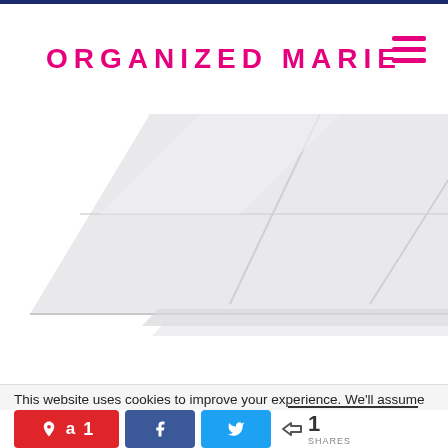ORGANIZED MARIE
[Figure (photo): Partial view of a white folded or stacked plastic/ceramic organizer trays, showing corner detail against white background]
This website uses cookies to improve your experience. We'll assume
< 1 SHARES (with Pin, Facebook, Twitter share buttons)